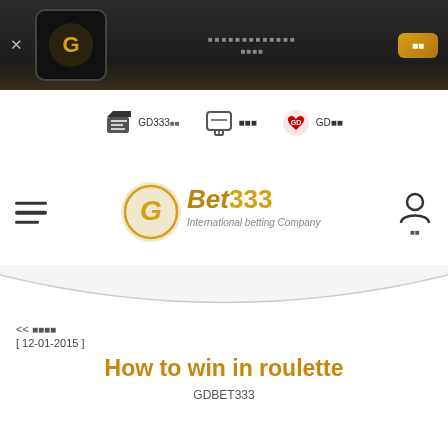X  [logo]  [nav text squares]  [button squares]
[Figure (screenshot): Top dark navigation bar with X button, circular GD gold logo, garbled Unicode text in center, and a gold button on the right]
[Figure (screenshot): White navigation bar with GD333 movie icon, chat/support icon, and GD heart logo navigation items]
[Figure (logo): GDBet333 International betting Company gold logo with hamburger menu on left and user/profile icon on right]
[Figure (illustration): Curved arc divider separating header from content]
<< 뒤로가기
[ 12-01-2015 ]
How to win in roulette
GDBET333